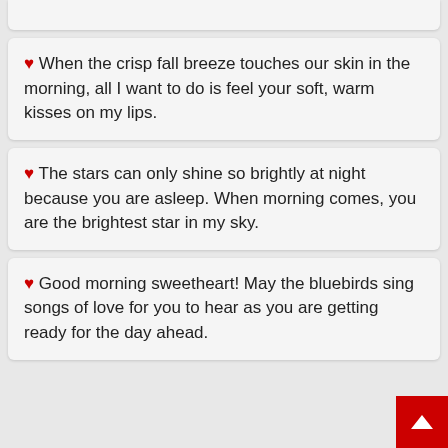♥ When the crisp fall breeze touches our skin in the morning, all I want to do is feel your soft, warm kisses on my lips.
♥ The stars can only shine so brightly at night because you are asleep. When morning comes, you are the brightest star in my sky.
♥ Good morning sweetheart! May the bluebirds sing songs of love for you to hear as you are getting ready for the day ahead.